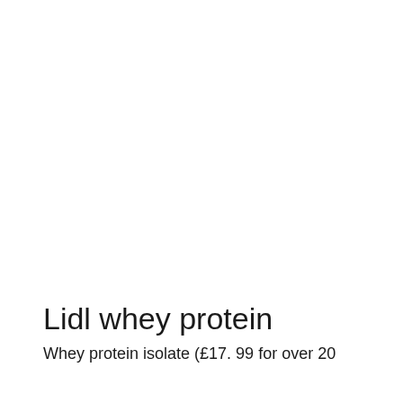Lidl whey protein
Whey protein isolate (£17. 99 for over 20